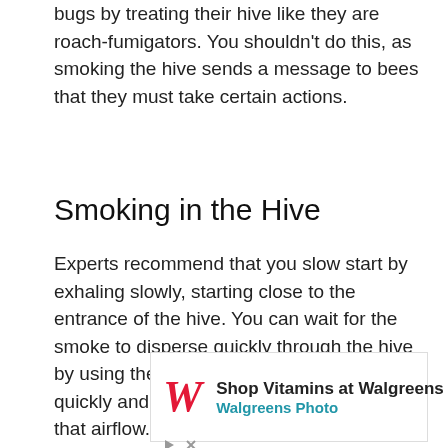bugs by treating their hive like they are roach-fumigators. You shouldn’t do this, as smoking the hive sends a message to bees that they must take certain actions.
Smoking in the Hive
Experts recommend that you slow start by exhaling slowly, starting close to the entrance of the hive. You can wait for the smoke to disperse quickly through the hive by using the airflow. The bees will react quickly and take action when you apply that airflow.
Then, open the hive by inhaling a bit more smoke. Remember that smoke is a sedative for bees, not a
[Figure (other): Walgreens advertisement: Shop Vitamins at Walgreens, Walgreens Photo, with Walgreens logo and blue direction arrow icon]